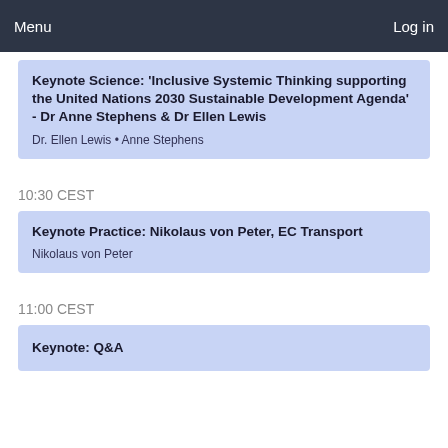Menu  Log in
Keynote Science: 'Inclusive Systemic Thinking supporting the United Nations 2030 Sustainable Development Agenda' - Dr Anne Stephens & Dr Ellen Lewis
Dr. Ellen Lewis • Anne Stephens
10:30 CEST
Keynote Practice: Nikolaus von Peter, EC Transport
Nikolaus von Peter
11:00 CEST
Keynote: Q&A